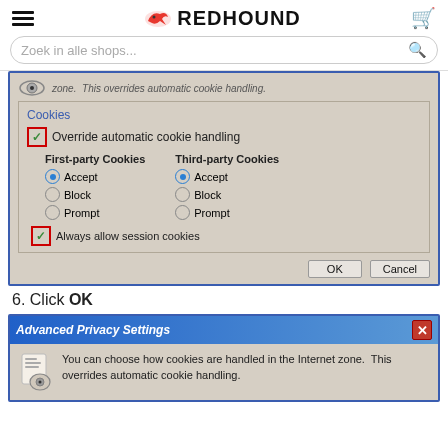REDFOUND - Zoek in alle shops...
[Figure (screenshot): Windows Internet Explorer cookie settings dialog showing Cookies section with 'Override automatic cookie handling' checkbox (checked, highlighted in red), First-party Cookies and Third-party Cookies radio options both set to Accept, and 'Always allow session cookies' checkbox (checked, highlighted in red), with OK and Cancel buttons.]
6. Click OK
[Figure (screenshot): Advanced Privacy Settings dialog box with blue title bar, showing icon and text: 'You can choose how cookies are handled in the Internet zone. This overrides automatic cookie handling.']